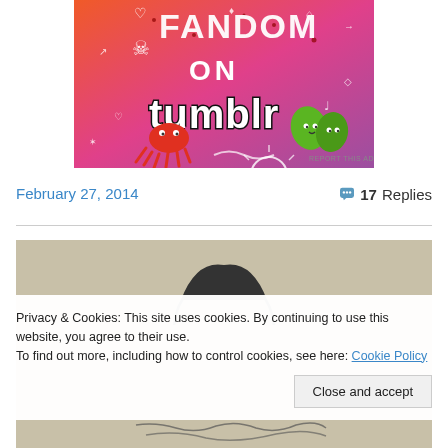[Figure (illustration): Fandom on Tumblr promotional banner image with colorful orange-to-purple gradient background, white decorative doodles (hearts, skulls, music notes, arrows, diamonds), bold black and white text 'FANDOM ON tumblr', cartoon octopus and leaf characters]
REPORT THIS AD
February 27, 2014
17 Replies
[Figure (illustration): Partial black and white sketch/drawing on tan/beige background, showing top of a figure's head]
Privacy & Cookies: This site uses cookies. By continuing to use this website, you agree to their use.
To find out more, including how to control cookies, see here: Cookie Policy
Close and accept